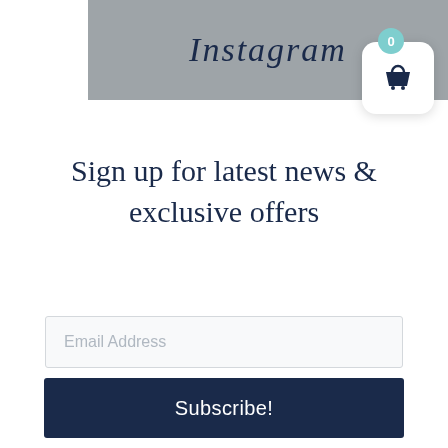[Figure (screenshot): Instagram banner header with grey background showing italic text 'Instagram' and a shopping basket icon with badge showing 0]
Sign up for latest news & exclusive offers
Email Address
Subscribe!